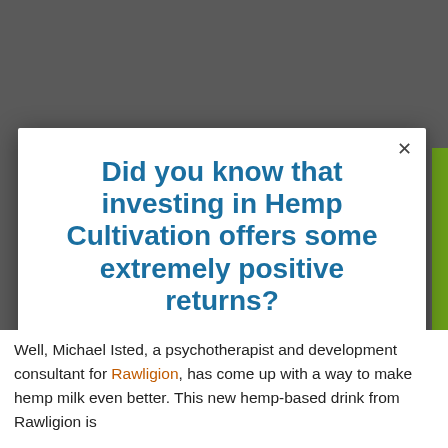Did you know that investing in Hemp Cultivation offers some extremely positive returns?
Enter your details below, get further information on how you too can benefit from investing in Hemp Crop-Cycles.
We respect your privacy.
Well, Michael Isted, a psychotherapist and development consultant for Rawligion, has come up with a way to make hemp milk even better. This new hemp-based drink from Rawligion is